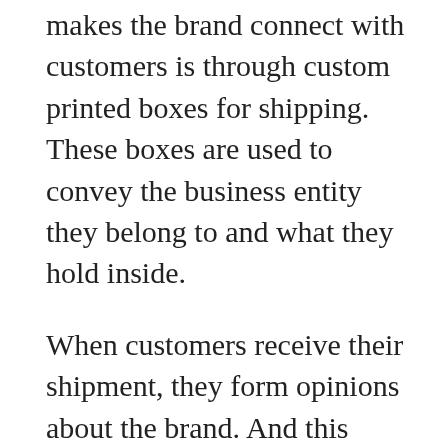makes the brand connect with customers is through custom printed boxes for shipping. These boxes are used to convey the business entity they belong to and what they hold inside.
When customers receive their shipment, they form opinions about the brand. And this becomes even more impactful as they unbox the packages. Stiff competition has led to every bit of customer interaction being utilized to garner the maximum customer loyalty for the brands. The boxes have become an emblem of pride and